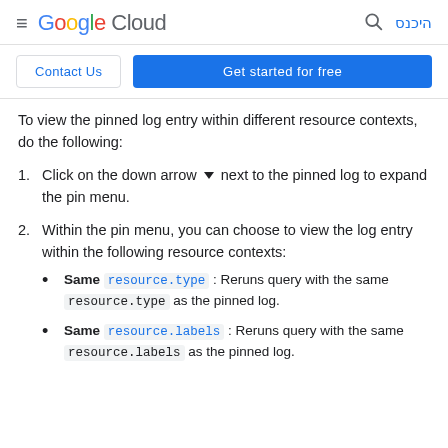Google Cloud — היכנס
Contact Us | Get started for free
To view the pinned log entry within different resource contexts, do the following:
1. Click on the down arrow ▾ next to the pinned log to expand the pin menu.
2. Within the pin menu, you can choose to view the log entry within the following resource contexts:
• Same resource.type : Reruns query with the same resource.type as the pinned log.
• Same resource.labels : Reruns query with the same resource.labels as the pinned log.